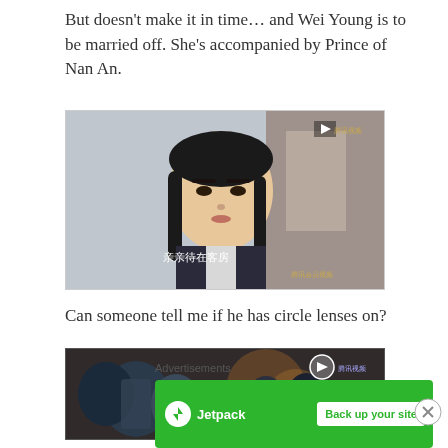But doesn't make it in time… and Wei Young is to be married off. She's accompanied by Prince of Nan An.
[Figure (screenshot): Video thumbnail showing a young man in traditional Chinese costume with black hair, Chinese subtitles at bottom reading 亲亲待在客房, with a video platform logo overlay in the top right]
Can someone tell me if he has circle lenses on?
[Figure (screenshot): Video thumbnail showing multiple figures in dark traditional Chinese armor/costumes with a Tencent video play button overlay in the top right]
Advertisements
[Figure (other): Jetpack advertisement banner with green background, Jetpack logo on left and 'Back up your site' white button on right]